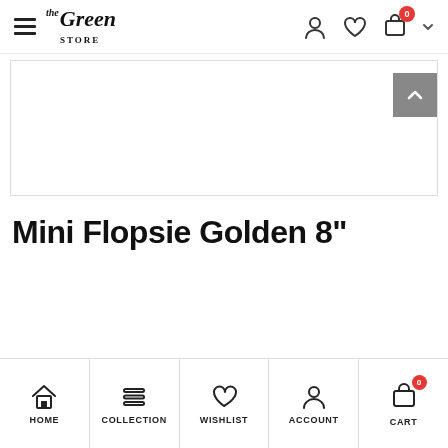The Green Store — navigation bar with hamburger menu, logo, account icon, wishlist icon, cart (0), chevron
[Figure (screenshot): White banner/image area with a scroll-to-top button (grey square with white up arrow chevron) in the top right corner]
Mini Flopsie Golden 8"
HOME | COLLECTION | WISHLIST | ACCOUNT | CART